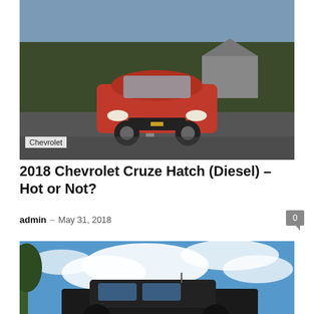[Figure (photo): Red Chevrolet Cruze hatchback driving on a road with trees and a barn in the background, motion blur on road]
Chevrolet
2018 Chevrolet Cruze Hatch (Diesel) – Hot or Not?
admin – May 31, 2018
[Figure (photo): SUV or truck partially visible against a dramatic blue sky with clouds and trees in background]